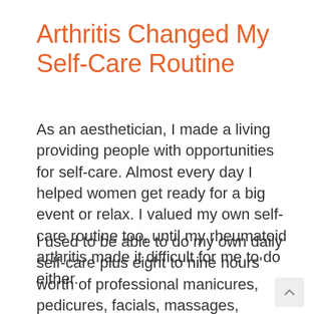Arthritis Changed My Self-Care Routine
As an aesthetician, I made a living providing people with opportunities for self-care. Almost every day I helped women get ready for a big event or relax. I valued my own self-care routine too, until my rheumatoid arthritis made it difficult for me to do either.
I used to be able to do my own daily self-care plus eight to nine hours' worth of professional manicures, pedicures, facials, massages, waxes, and make-up applications for others. Now I find I often need to give myself self-care during sel-